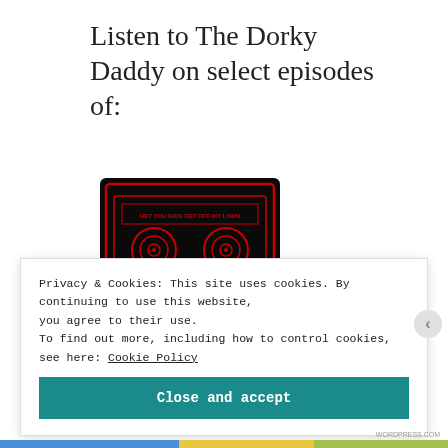Listen to The Dorky Daddy on select episodes of:
[Figure (photo): Cassette tape graphic with neon red outlines on black background. Text reads 'HEY YOU KIDS GET OFF MY LAWN' and 'OLD MAN FREAKBOY']
"Hey, You Kids! Get Off My Lawn!"
with Old Man Freakboy
Privacy & Cookies: This site uses cookies. By continuing to use this website, you agree to their use.
To find out more, including how to control cookies, see here: Cookie Policy
Close and accept